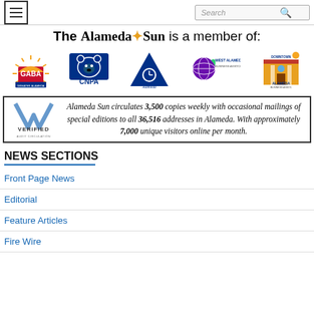Navigation bar with hamburger menu and Search box
The Alameda Sun is a member of:
[Figure (logo): Row of member organization logos: GABA (Greater Alameda Business Association), CNPA, Alameda Chamber of Commerce, West Alameda Business Association, Downtown Alameda Business Association]
Alameda Sun circulates 3,500 copies weekly with occasional mailings of special editions to all 36,516 addresses in Alameda. With approximately 7,000 unique visitors online per month.
NEWS SECTIONS
Front Page News
Editorial
Feature Articles
Fire Wire